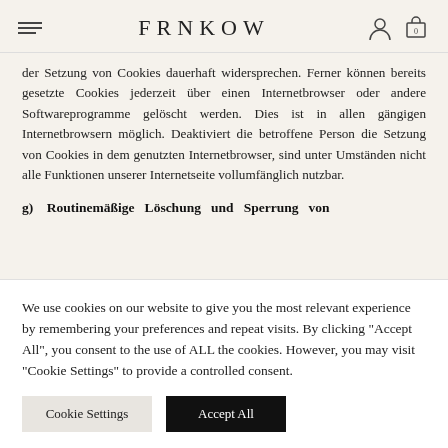FRNKOW
der Setzung von Cookies dauerhaft widersprechen. Ferner können bereits gesetzte Cookies jederzeit über einen Internetbrowser oder andere Softwareprogramme gelöscht werden. Dies ist in allen gängigen Internetbrowsern möglich. Deaktiviert die betroffene Person die Setzung von Cookies in dem genutzten Internetbrowser, sind unter Umständen nicht alle Funktionen unserer Internetseite vollumfänglich nutzbar.
g)  Routinemäßige  Löschung  und  Sperrung  von
We use cookies on our website to give you the most relevant experience by remembering your preferences and repeat visits. By clicking "Accept All", you consent to the use of ALL the cookies. However, you may visit "Cookie Settings" to provide a controlled consent.
Cookie Settings
Accept All